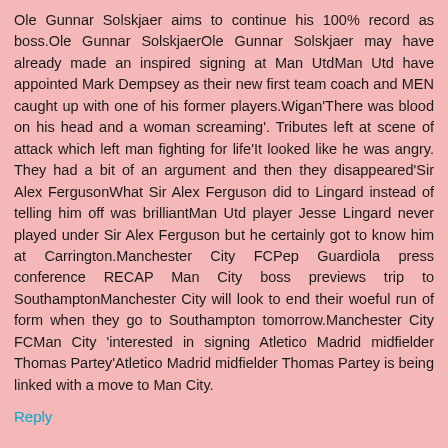Ole Gunnar Solskjaer aims to continue his 100% record as boss.Ole Gunnar SolskjaerOle Gunnar Solskjaer may have already made an inspired signing at Man UtdMan Utd have appointed Mark Dempsey as their new first team coach and MEN caught up with one of his former players.Wigan'There was blood on his head and a woman screaming'. Tributes left at scene of attack which left man fighting for life'It looked like he was angry. They had a bit of an argument and then they disappeared'Sir Alex FergusonWhat Sir Alex Ferguson did to Lingard instead of telling him off was brilliantMan Utd player Jesse Lingard never played under Sir Alex Ferguson but he certainly got to know him at Carrington.Manchester City FCPep Guardiola press conference RECAP Man City boss previews trip to SouthamptonManchester City will look to end their woeful run of form when they go to Southampton tomorrow.Manchester City FCMan City 'interested in signing Atletico Madrid midfielder Thomas Partey'Atletico Madrid midfielder Thomas Partey is being linked with a move to Man City.
Reply